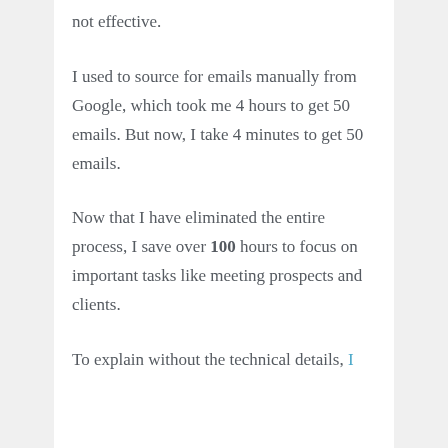not effective.
I used to source for emails manually from Google, which took me 4 hours to get 50 emails. But now, I take 4 minutes to get 50 emails.
Now that I have eliminated the entire process, I save over 100 hours to focus on important tasks like meeting prospects and clients.
To explain without the technical details, I built a tool that automates email...